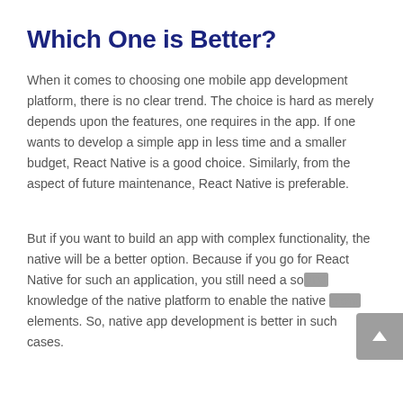Which One is Better?
When it comes to choosing one mobile app development platform, there is no clear trend. The choice is hard as merely depends upon the features, one requires in the app. If one wants to develop a simple app in less time and a smaller budget, React Native is a good choice. Similarly, from the aspect of future maintenance, React Native is preferable.
But if you want to build an app with complex functionality, the native will be a better option. Because if you go for React Native for such an application, you still need a sound knowledge of the native platform to enable the native elements. So, native app development is better in such cases.